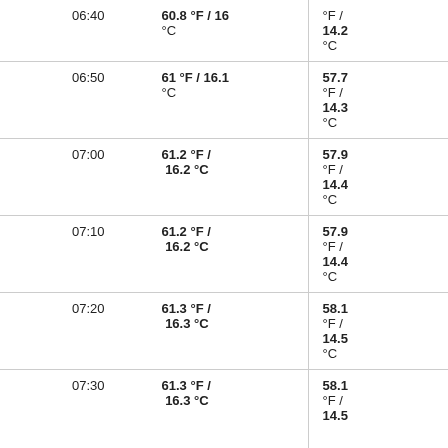| Time | Temp | Dew Point | Pressure | Wind Dir | Wind Speed | Gust |
| --- | --- | --- | --- | --- | --- | --- |
| 06:40 | 60.8 °F / 16 °C | °F / 14.2 °C | 30.02in / 1016.5hPa | SW | 1mph / 1.6km/h | 4 |
| 06:50 | 61 °F / 16.1 °C | 57.7 °F / 14.3 °C | 30.02in / 1016.5hPa | SW | 1mph / 1.6km/h | 2 |
| 07:00 | 61.2 °F / 16.2 °C | 57.9 °F / 14.4 °C | 30.02in / 1016.5hPa | SW | 3mph / 4.8km/h | 5 |
| 07:10 | 61.2 °F / 16.2 °C | 57.9 °F / 14.4 °C | 30.01in / 1016.1hPa | SW | 1mph / 1.6km/h | 3 |
| 07:20 | 61.3 °F / 16.3 °C | 58.1 °F / 14.5 °C | 30.01in / 1016.1hPa | SW | 2mph / 3.2km/h | 5 |
| 07:30 | 61.3 °F / 16.3 °C | 58.1 °F / 14.5 °C | 30.02in / 1016.5hPa | SW | 3mph / 4.8km/h | 6 |